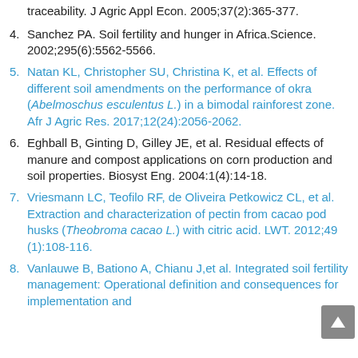(continuation) traceability. J Agric Appl Econ. 2005;37(2):365-377.
4. Sanchez PA. Soil fertility and hunger in Africa.Science. 2002;295(6):5562-5566.
5. Natan KL, Christopher SU, Christina K, et al. Effects of different soil amendments on the performance of okra (Abelmoschus esculentus L.) in a bimodal rainforest zone. Afr J Agric Res. 2017;12(24):2056-2062.
6. Eghball B, Ginting D, Gilley JE, et al. Residual effects of manure and compost applications on corn production and soil properties. Biosyst Eng. 2004:1(4):14-18.
7. Vriesmann LC, Teofilo RF, de Oliveira Petkowicz CL, et al. Extraction and characterization of pectin from cacao pod husks (Theobroma cacao L.) with citric acid. LWT. 2012;49 (1):108-116.
8. Vanlauwe B, Bationo A, Chianu J,et al. Integrated soil fertility management: Operational definition and consequences for implementation and